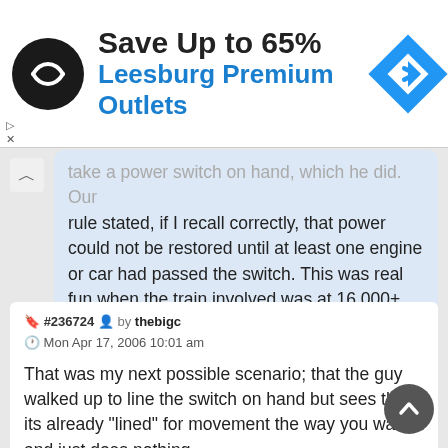[Figure (screenshot): Advertisement banner for Leesburg Premium Outlets with black circular logo, bold text 'Save Up to 65%' and blue navigation diamond icon]
take a power switch on hand, which he did. Our rule stated, if I recall correctly, that power could not be restored until at least one engine or car had passed the switch. This was real fun when the train involved was at 16,000+ tons as most of ours were as one could not mount or dismount moving equipment and a second full stop had to be made.
#236724 by thebigc
Mon Apr 17, 2006 10:01 am

That was my next possible scenario; that the guy walked up to line the switch on hand but sees that's its already "lined" for movement the way you want it and just does nothing.